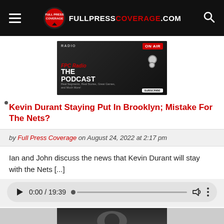FULLPRESSCOVERAGE.COM
[Figure (photo): FPC Radio - The Podcast advertisement image with microphone and earphones on dark background]
Kevin Durant Staying Put In Brooklyn; Mistake For The Nets?
by Full Press Coverage on August 24, 2022 at 2:17 pm
Ian and John discuss the news that Kevin Durant will stay with the Nets [...]
[Figure (other): Audio player showing 0:00 / 19:39 with play button, progress bar, volume and more options controls]
[Figure (photo): Bottom partial image strip]